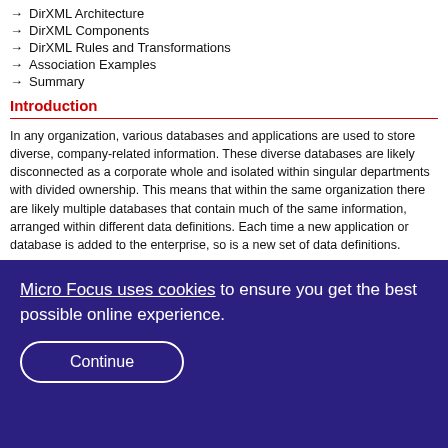→ DirXML Architecture
→ DirXML Components
→ DirXML Rules and Transformations
→ Association Examples
→ Summary
Introduction
In any organization, various databases and applications are used to store diverse, company-related information. These diverse databases are likely disconnected as a corporate whole and isolated within singular departments with divided ownership. This means that within the same organization there are likely multiple databases that contain much of the same information, arranged within different data definitions. Each time a new application or database is added to the enterprise, so is a new set of data definitions.
The main problem created by adding these new applications and databases is that each application uses the same, redundant information. For example, an existing e-mail system contains information about employees who use the system. When a new payroll system is added to the enterprise, these same employees are added to the new system with potentially redundant information. When that redundant information changes, each database that uses it also needs to be changed, resulting in expensive maintenance costs and greater potential for error.
DirXML, based on Novell Directory Services (NDS) eDirectory software and industry...
Micro Focus uses cookies to ensure you get the best possible online experience. Continue